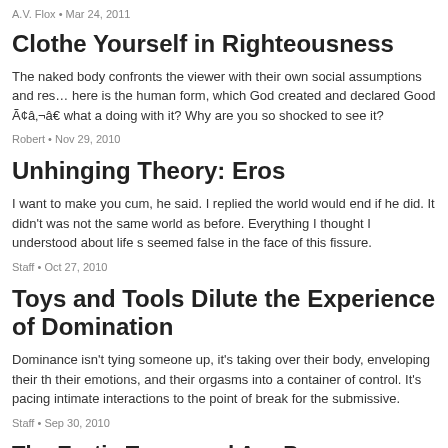A.V. Flox • Mar 24, 2011
Clothe Yourself in Righteousness
The naked body confronts the viewer with their own social assumptions and res... here is the human form, which God created and declared Good Ã¢â‚¬â€ what a doing with it? Why are you so shocked to see it?
Robert • Nov 29, 2010
Unhinging Theory: Eros
I want to make you cum, he said. I replied the world would end if he did. It didn't was not the same world as before. Everything I thought I understood about life s seemed false in the face of this fissure.
Staff • Oct 27, 2010
Toys and Tools Dilute the Experience of Domination
Dominance isn't tying someone up, it's taking over their body, enveloping their th their emotions, and their orgasms into a container of control. It's pacing intimate interactions to the point of break for the submissive.
Staff • Sep 30, 2010
The Erotic Terrorand A... Person, Between and Eternity